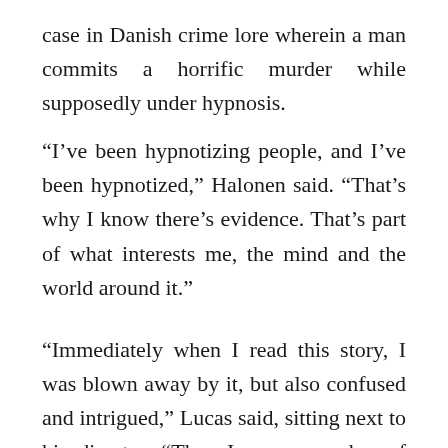case in Danish crime lore wherein a man commits a horrific murder while supposedly under hypnosis.
“I’ve been hypnotizing people, and I’ve been hypnotized,” Halonen said. “That’s why I know there’s evidence. That’s part of what interests me, the mind and the world around it.”
“Immediately when I read this story, I was blown away by it, but also confused and intrigued,” Lucas said, sitting next to his director. “Then I saw a number of Arto’s films and I was impressed to say the least.
“Maybe Arto doesn’t like this analogy, but he’s sort